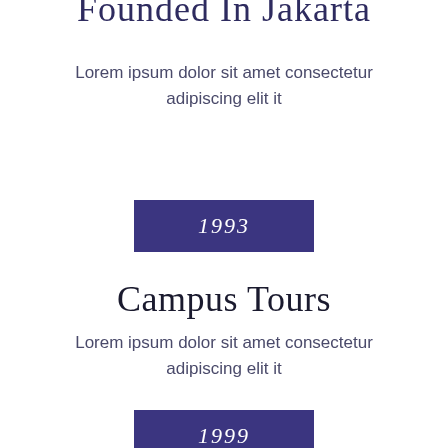Founded In Jakarta
Lorem ipsum dolor sit amet consectetur adipiscing elit it
1993
Campus Tours
Lorem ipsum dolor sit amet consectetur adipiscing elit it
1999
Virtual Open Days